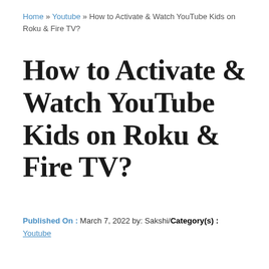Home » Youtube » How to Activate & Watch YouTube Kids on Roku & Fire TV?
How to Activate & Watch YouTube Kids on Roku & Fire TV?
Published On : March 7, 2022 by: Sakshi/Category(s) : Youtube